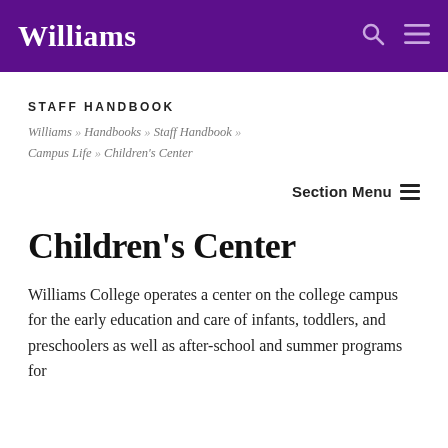Williams
STAFF HANDBOOK
Williams » Handbooks » Staff Handbook » Campus Life » Children's Center
Section Menu
Children's Center
Williams College operates a center on the college campus for the early education and care of infants, toddlers, and preschoolers as well as after-school and summer programs for